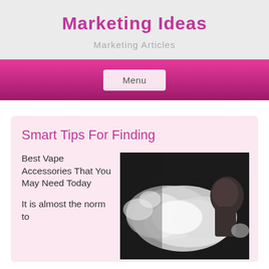Marketing Ideas
Marketing Articles
Menu
Smart Tips For Finding
Best Vape Accessories That You May Need Today
[Figure (photo): Black and white photo of a person exhaling a large cloud of vapor/smoke from a vaping device]
It is almost the norm to